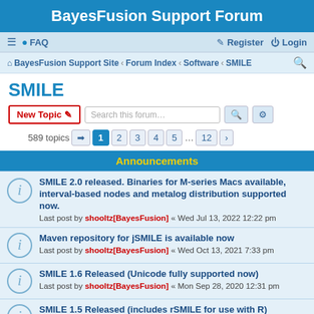BayesFusion Support Forum
≡  FAQ    Register  Login
BayesFusion Support Site « Forum Index « Software « SMILE
SMILE
New Topic  Search this forum…  589 topics  1 2 3 4 5 ... 12
Announcements
SMILE 2.0 released. Binaries for M-series Macs available, interval-based nodes and metalog distribution supported now.
Last post by shooltz[BayesFusion] « Wed Jul 13, 2022 12:22 pm
Maven repository for jSMILE is available now
Last post by shooltz[BayesFusion] « Wed Oct 13, 2021 7:33 pm
SMILE 1.6 Released (Unicode fully supported now)
Last post by shooltz[BayesFusion] « Mon Sep 28, 2020 12:31 pm
SMILE 1.5 Released (includes rSMILE for use with R)
Last post by shooltz[BayesFusion] « Tue Dec 10, 2019 3:51 pm
Replies: 2